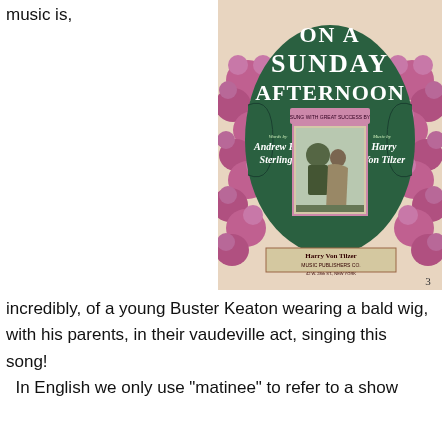music is,
[Figure (illustration): Sheet music cover for 'On A Sunday Afternoon', words by Andrew B. Sterling, music by Harry Von Tilzer. Green oval with large white text, surrounded by pink/purple flowers, with a central image of a couple. Published by Harry Von Tilzer Music Publishing Co.]
incredibly, of a young Buster Keaton wearing a bald wig, with his parents, in their vaudeville act, singing this song!
In English we only use "matinee" to refer to a show